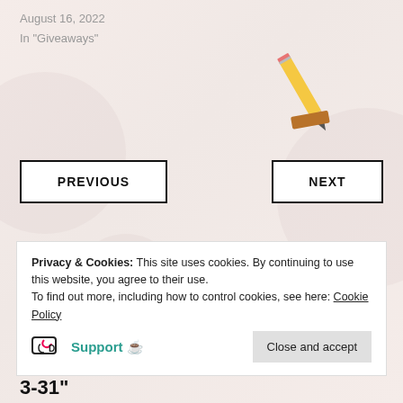August 16, 2022
In "Giveaways"
[Figure (illustration): A pencil illustration tilted at an angle with an eraser piece below it]
PREVIOUS
NEXT
Privacy & Cookies: This site uses cookies. By continuing to use this website, you agree to their use.
To find out more, including how to control cookies, see here: Cookie Policy
Support 🍵
Close and accept
3-31"